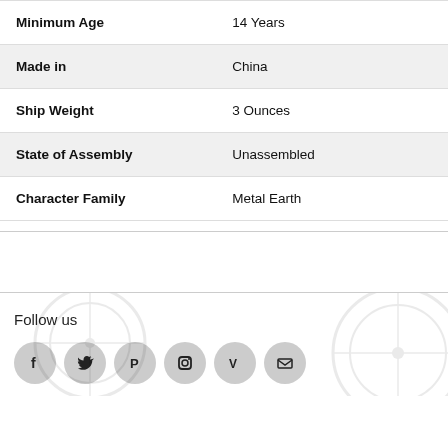| Attribute | Value |
| --- | --- |
| Minimum Age | 14 Years |
| Made in | China |
| Ship Weight | 3 Ounces |
| State of Assembly | Unassembled |
| Character Family | Metal Earth |
Follow us